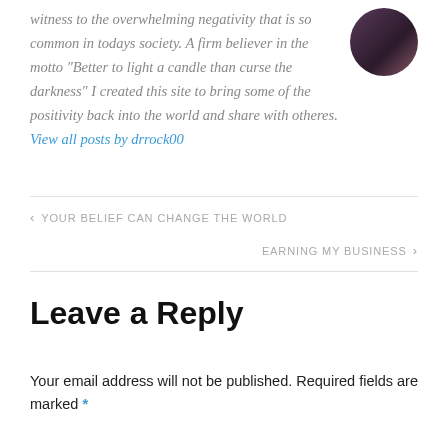witness to the overwhelming negativity that is so common in todays society. A firm believer in the motto "Better to light a candle than curse the darkness" I created this site to bring some of the positivity back into the world and share with otheres. View all posts by drrock00
[Figure (photo): Circular avatar photo of a person, dark background with purple/pink tones]
YOUR BELIEF CAN CHANGE THE WORLD
EARNING MY BUSINESS
Leave a Reply
Your email address will not be published. Required fields are marked *